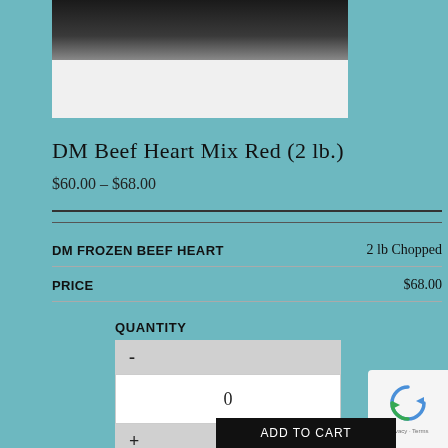[Figure (photo): Product photo of DM Beef Heart Mix Red in a plastic bag, dark contents visible against white background]
DM Beef Heart Mix Red (2 lb.)
$60.00 – $68.00
| DM FROZEN BEEF HEART | 2 lb Chopped |
| PRICE | $68.00 |
QUANTITY
-
0
+
[Figure (logo): reCAPTCHA badge with recycle-arrow icon and Privacy · Terms text]